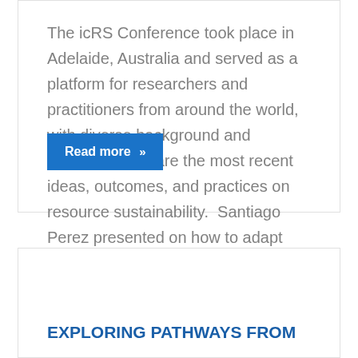The icRS Conference took place in Adelaide, Australia and served as a platform for researchers and practitioners from around the world, with diverse background and expertise, to share the most recent ideas, outcomes, and practices on resource sustainability.  Santiago Perez presented on how to adapt trans-disciplinary methods to the analysis of Industrial Ecology projects in...
Read more »
EXPLORING PATHWAYS FROM